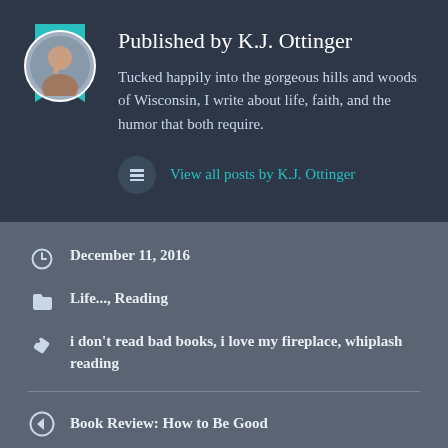Published by K.J. Ottinger
Tucked happily into the gorgeous hills and woods of Wisconsin, I write about life, faith, and the humor that both require.
View all posts by K.J. Ottinger
December 11, 2016
Life..., Reading
i don't read bad books, i love my fireplace, whiplash reading
Book Review: How to Be Good
Another win